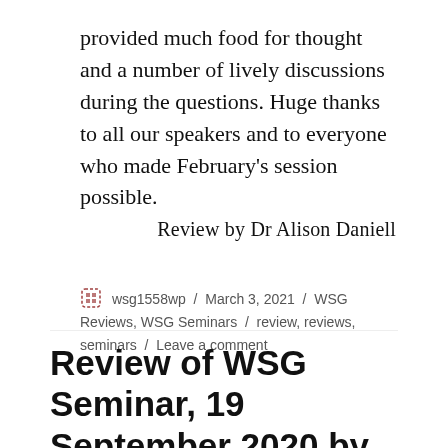it was a stimulating and enjoyable session that provided much food for thought and a number of lively discussions during the questions. Huge thanks to all our speakers and to everyone who made February's session possible.
Review by Dr Alison Daniell
wsg1558wp / March 3, 2021 / WSG Reviews, WSG Seminars / review, reviews, seminars / Leave a comment
Review of WSG Seminar, 19 September 2020 by Miriam Al Jamil